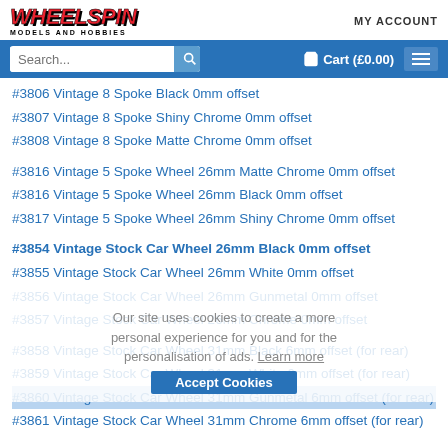WHEELSPIN MODELS AND HOBBIES — MY ACCOUNT — Cart (£0.00)
#3806 Vintage 8 Spoke Black 0mm offset
#3807 Vintage 8 Spoke Shiny Chrome 0mm offset
#3808 Vintage 8 Spoke Matte Chrome 0mm offset
#3816 Vintage 5 Spoke Wheel 26mm Matte Chrome 0mm offset
#3816 Vintage 5 Spoke Wheel 26mm Black 0mm offset
#3817 Vintage 5 Spoke Wheel 26mm Shiny Chrome 0mm offset
#3854 Vintage Stock Car Wheel 26mm Black 0mm offset
#3855 Vintage Stock Car Wheel 26mm White 0mm offset
#3856 Vintage Stock Car Wheel 26mm Gunmetal 0mm offset
#3857 Vintage Stock Car Wheel 26mm Chrome 0mm offset
#3858 Vintage Stock Car Wheel 31mm Black 6mm offset (for rear)
#3859 Vintage Stock Car Wheel 31mm White 6mm offset (for rear)
#3860 Vintage Stock Car Wheel 31mm Gunmetal 6mm offset (for rear)
#3861 Vintage Stock Car Wheel 31mm Chrome 6mm offset (for rear)
Our site uses cookies to create a more personal experience for you and for the personalisation of ads. Learn more
Accept Cookies